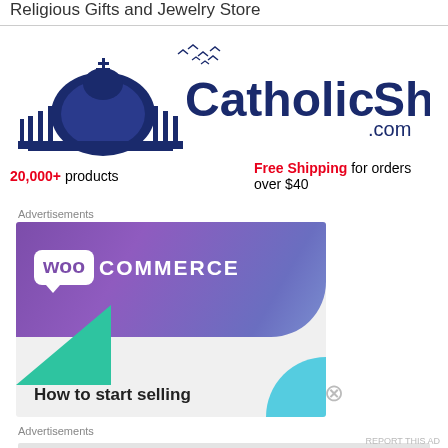Religious Gifts and Jewelry Store
[Figure (logo): CatholicShop.com logo with St. Peter's Basilica illustration and birds, bold navy text 'CatholicShop.com']
20,000+ products   Free Shipping for orders over $40
Advertisements
[Figure (screenshot): WooCommerce advertisement banner with purple gradient background, teal and light blue geometric accents, WooCommerce logo in white speech bubble, text 'How to start selling']
Advertisements